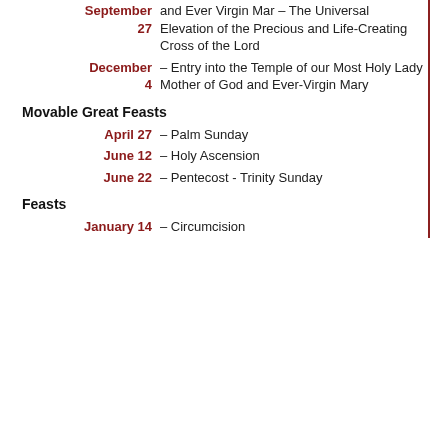| Date | Feast |
| --- | --- |
| September 27 | and Ever Virgin Mar – The Universal Elevation of the Precious and Life-Creating Cross of the Lord |
| December 4 | – Entry into the Temple of our Most Holy Lady Mother of God and Ever-Virgin Mary |
Movable Great Feasts
| Date | Feast |
| --- | --- |
| April 27 | – Palm Sunday |
| June 12 | – Holy Ascension |
| June 22 | – Pentecost - Trinity Sunday |
Feasts
| Date | Feast |
| --- | --- |
| January 14 | – Circumcision |